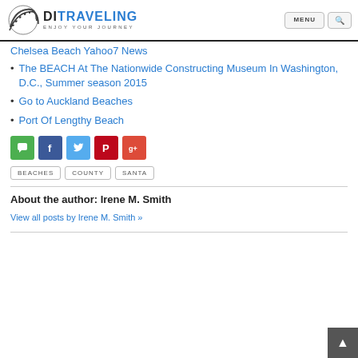DITRAVELING - ENJOY YOUR JOURNEY | MENU
Chelsea Beach Yahoo7 News
The BEACH At The Nationwide Constructing Museum In Washington, D.C., Summer season 2015
Go to Auckland Beaches
Port Of Lengthy Beach
[Figure (infographic): Social sharing buttons: comment (green), Facebook (dark blue), Twitter (light blue), Pinterest (red), Google+ (coral/red)]
BEACHES  COUNTY  SANTA
About the author: Irene M. Smith
View all posts by Irene M. Smith »